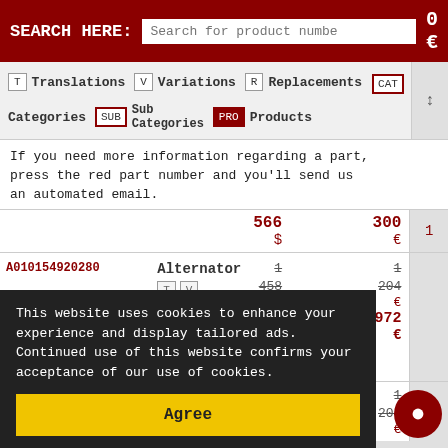SEARCH HERE: [Search for product number]
[Figure (screenshot): Navigation tabs: T Translations, V Variations, R Replacements, CAT Categories, SUB Sub Categories, PRO Products (highlighted dark red)]
If you need more information regarding a part, press the red part number and you'll send us an automated email.
| Part Number | Description | Price $ | Price € |
| --- | --- | --- | --- |
|  |  | 566 $ | 300 € |
| A010154920280 | Alternator T V | 1 458 $ / 1 972 170 $ | 1 204 € / 972 € |
This website uses cookies to enhance your experience and display tailored ads. Continued use of this website confirms your acceptance of our use of cookies.
Agree